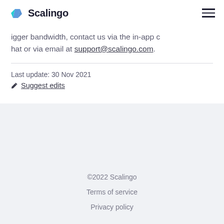Scalingo
igger bandwidth, contact us via the in-app chat or via email at support@scalingo.com.
Last update: 30 Nov 2021
Suggest edits
©2022 Scalingo
Terms of service
Privacy policy